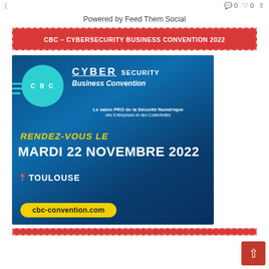Powered by Feed Them Social
CBC – CYBERSECURITY BUSINESS CONVENTION 2022
[Figure (illustration): CBC Cybersecurity Business Convention 2022 event promotional image. Dark blue background with teal circle logo, text: CYBER SECURITY Business Convention, Le salon PRO de la Sécurité Numérique des Entreprises et des Collectivités. RENDEZ-VOUS LE MARDI 22 NOVEMBRE 2022 TOULOUSE cbc-convention.com]